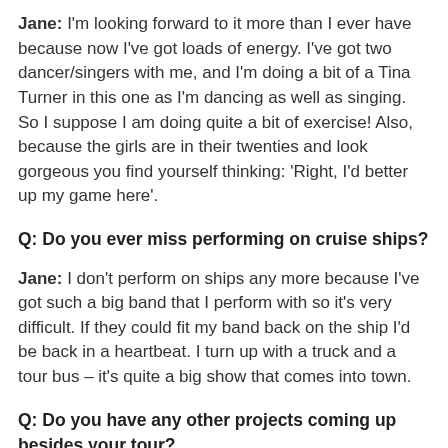Jane: I'm looking forward to it more than I ever have because now I've got loads of energy. I've got two dancer/singers with me, and I'm doing a bit of a Tina Turner in this one as I'm dancing as well as singing. So I suppose I am doing quite a bit of exercise! Also, because the girls are in their twenties and look gorgeous you find yourself thinking: 'Right, I'd better up my game here'.
Q: Do you ever miss performing on cruise ships?
Jane: I don't perform on ships any more because I've got such a big band that I perform with so it's very difficult. If they could fit my band back on the ship I'd be back in a heartbeat. I turn up with a truck and a tour bus – it's quite a big show that comes into town.
Q: Do you have any other projects coming up besides your tour?